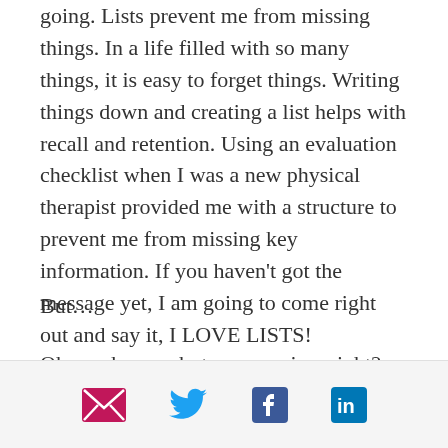going. Lists prevent me from missing things. In a life filled with so many things, it is easy to forget things. Writing things down and creating a list helps with recall and retention. Using an evaluation checklist when I was a new physical therapist provided me with a structure to prevent me from missing key information. If you haven't got the message yet, I am going to come right out and say it, I LOVE LISTS!
But…
Oh you knew a but was coming, right?
[Figure (infographic): Social share bar with email (pink envelope), Twitter (blue bird), Facebook (blue f), LinkedIn (blue in) icons]